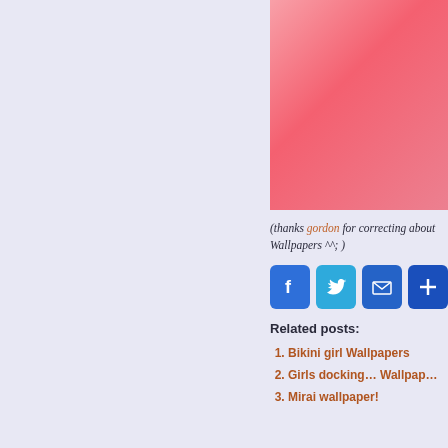[Figure (photo): Pink/salmon colored image in upper right, appears to be a wallpaper or illustration with gradient pink tones]
(thanks gordon for correcting about Wallpapers ^^; )
[Figure (infographic): Social media share buttons: Facebook (blue), Twitter (light blue), Email (dark blue), Share/Plus (dark blue)]
Related posts:
Bikini girl Wallpapers
Girls docking… Wallpapers
Mirai wallpaper!